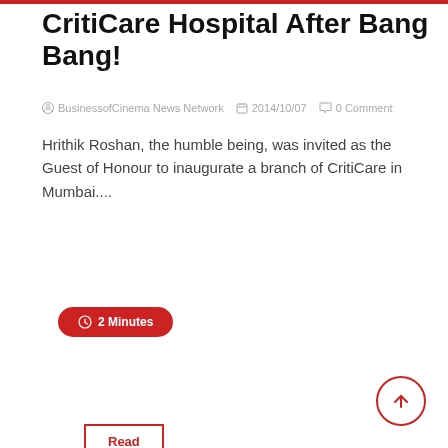CritiCare Hospital After Bang Bang!
BusinessofCinema News Network   2014/10/07   0 Comment
Hrithik Roshan, the humble being, was invited as the Guest of Honour to inaugurate a branch of CritiCare in Mumbai....
Read More
2 Minutes